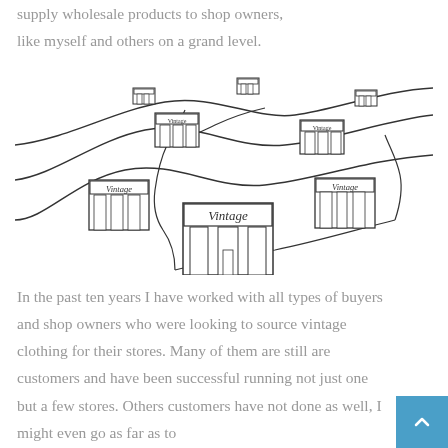supply wholesale products to shop owners, like myself and others on a grand level.
[Figure (illustration): Hand-drawn illustration showing multiple 'Vintage' branded store fronts of different sizes connected by winding roads across rolling hills. The largest store is in the center-bottom, with smaller stores scattered across the landscape connected by curving lines representing roads or supply chains.]
In the past ten years I have worked with all types of buyers and shop owners who were looking to source vintage clothing for their stores. Many of them are still are customers and have been successful running not just one but a few stores. Others customers have not done as well, I might even go as far as to